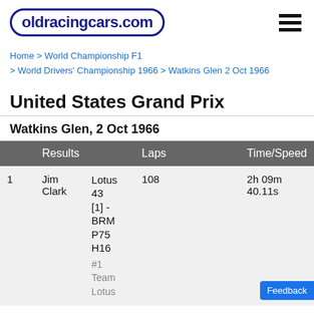oldracingcars.com
Home > World Championship F1 > World Drivers' Championship 1966 > Watkins Glen 2 Oct 1966
United States Grand Prix
Watkins Glen, 2 Oct 1966
|  | Results |  | Laps | Time/Speed |
| --- | --- | --- | --- | --- |
| 1 | Jim Clark | Lotus 43 [1] - BRM P75 H16
#1 Team Lotus | 108 | 2h 09m 40.11s |